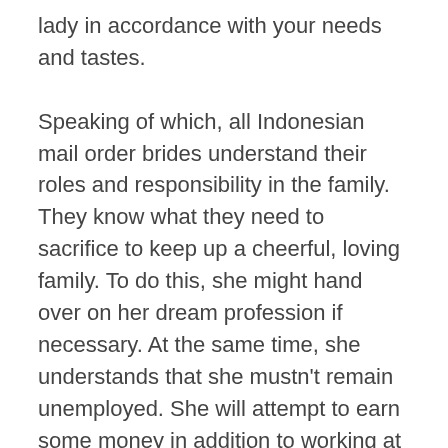lady in accordance with your needs and tastes. Speaking of which, all Indonesian mail order brides understand their roles and responsibility in the family. They know what they need to sacrifice to keep up a cheerful, loving family. To do this, she might hand over on her dream profession if necessary. At the same time, she understands that she mustn't remain unemployed. She will attempt to earn some money in addition to working at house so she will be able to contribute to the family.
Single seekers desire to seek communication, as we are social creatures. Before the arrival of Indonesian mail-order bride providers, it was harder to win a feminine heart. People had to go to public places single indonesian women and get to